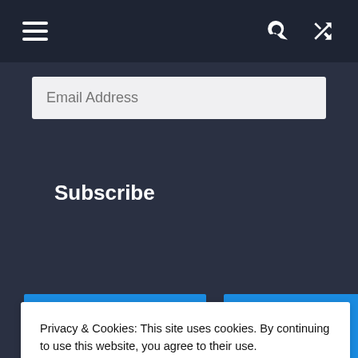Navigation bar with hamburger menu, search icon, and shuffle icon
Email Address
Subscribe
Recent Posts
Top Posts & Pages
Privacy & Cookies: This site uses cookies. By continuing to use this website, you agree to their use.
To find out more, including how to control cookies, see here: Cookie Policy
Close and accept
S&P 500 Stocks in
performance of